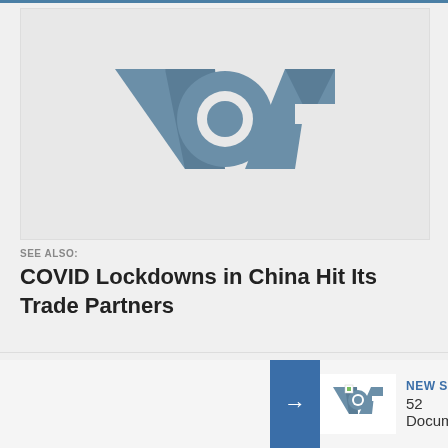[Figure (logo): VOA (Voice of America) logo in grey on light grey background]
SEE ALSO:
COVID Lockdowns in China Hit Its Trade Partners
[Figure (logo): Small VOA logo with NEW SERIES label and 52 Documentary text]
While Southeast Thailand and I